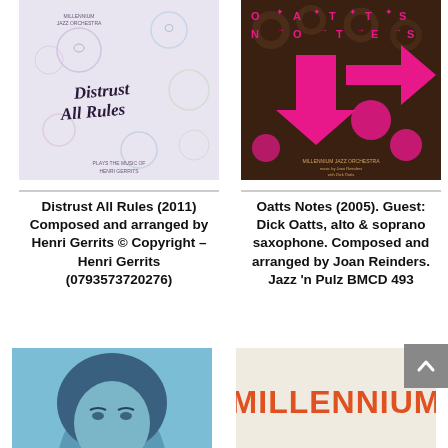[Figure (illustration): Album cover for 'Distrust All Rules' by Millennium Jazz Orchestra - light purple/lavender background with hand-drawn faces and cursive text]
[Figure (illustration): Album cover for 'Oatts Notes' by Millennium Jazz Orchestra - dark brown background with bright pink arrows and circles spelling 'OATTS NOTES']
Distrust All Rules (2011) Composed and arranged by Henri Gerrits © Copyright – Henri Gerrits (0793573720276)
Oatts Notes (2005). Guest: Dick Oatts, alto & soprano saxophone. Composed and arranged by Joan Reinders. Jazz 'n Pulz BMCD 493
[Figure (photo): Partial view of a person's face with blue-toned photo treatment]
[Figure (illustration): Text reading 'MILLENNIUM' in large orange/red letters on light background - partial album cover]